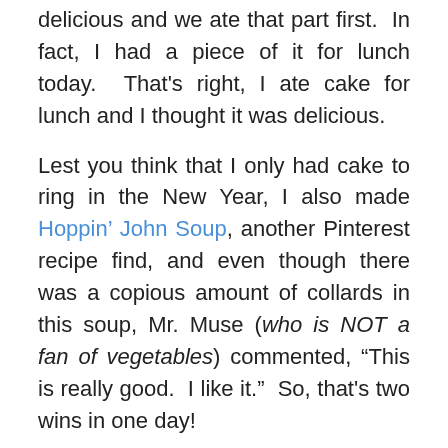delicious and we ate that part first.  In fact, I had a piece of it for lunch today.  That's right, I ate cake for lunch and I thought it was delicious.
Lest you think that I only had cake to ring in the New Year, I also made Hoppin' John Soup, another Pinterest recipe find, and even though there was a copious amount of collards in this soup, Mr. Muse (who is NOT a fan of vegetables) commented, "This is really good.  I like it."  So, that's two wins in one day!
Which brings me to today.  My article has been submitted for perusal.  I had cake for lunch. I still need to get in my workout (the treadmill is staring at the back of my head right now) and once that has been finished I'll resume crocheting a hat requested by the daughter of some friends as she's outgrown the last one I made her.  Her